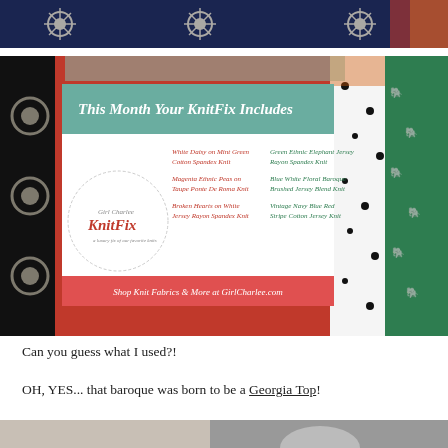[Figure (photo): Top portion of a blue and white patterned fabric, partially visible at top of page]
[Figure (photo): KnitFix subscription box card surrounded by colorful knit fabrics. Card reads 'This Month Your KnitFix Includes' with a teal header. Lists six fabrics: White Daisy on Mint Green Cotton Spandex Knit, Green Ethnic Elephant Jersey Rayon Spandex Knit, Magenta Ethnic Peas on Taupe Ponte De Roma Knit, Blue White Floral Baroque Brushed Jersey Blend Knit, Broken Hearts on White Jersey Rayon Spandex Knit, Vintage Navy Blue Red Stripe Cotton Jersey Knit. Girl Charlee KnitFix logo circle at bottom left. Footer: Shop Knit Fabrics & More at GirlCharlee.com]
Can you guess what I used?!
OH, YES... that baroque was born to be a Georgia Top!
[Figure (photo): Bottom portion of a photo, partially visible at bottom of page, appears to be grey/neutral tones]